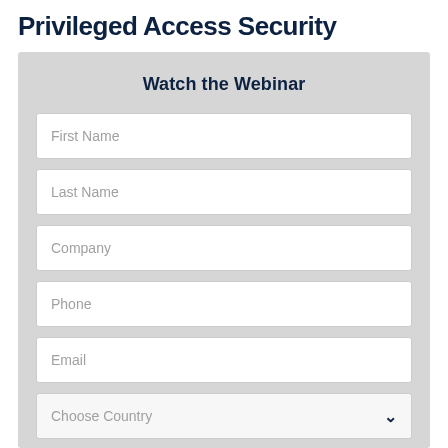Privileged Access Security
Watch the Webinar
First Name
Last Name
Company
Phone
Email
Choose Country
View It Now